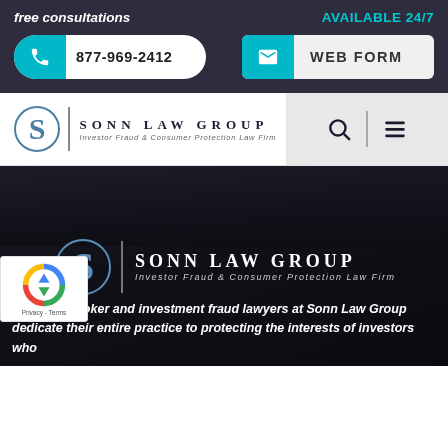free consultations
AVAILABLE 24/7
877-969-2412
WEB FORM
[Figure (logo): Sonn Law Group logo with stylized S in circle, vertical divider, and firm name 'SONN LAW GROUP' with tagline 'Investor Fraud & Consumer Protection Law Firm']
The stockbroker and investment fraud lawyers at Sonn Law Group dedicate their entire practice to protecting the interests of investors who